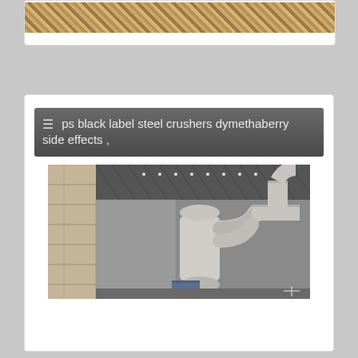[Figure (photo): Partial view of a textured woven material or thatched surface at top of page]
[Figure (photo): Industrial interior showing large white ventilation/dust collection pipes and ductwork inside a factory or workshop building with corrugated metal roof]
≡ ps black label steel crushers dymethaberry side effects ,